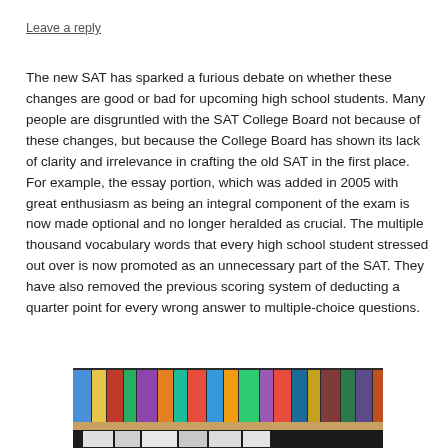Leave a reply
The new SAT has sparked a furious debate on whether these changes are good or bad for upcoming high school students. Many people are disgruntled with the SAT College Board not because of these changes, but because the College Board has shown its lack of clarity and irrelevance in crafting the old SAT in the first place. For example, the essay portion, which was added in 2005 with great enthusiasm as being an integral component of the exam is now made optional and no longer heralded as crucial. The multiple thousand vocabulary words that every high school student stressed out over is now promoted as an unnecessary part of the SAT. They have also removed the previous scoring system of deducting a quarter point for every wrong answer to multiple-choice questions.
[Figure (photo): Photo of books on a shelf, showing colorful book spines from above]